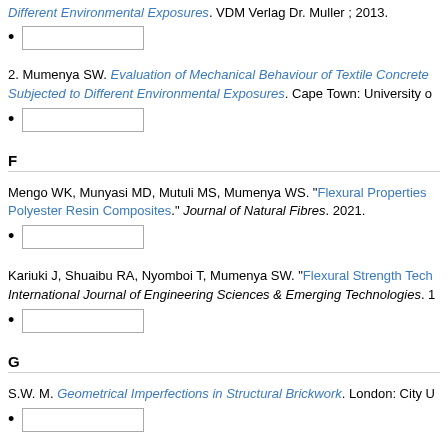Different Environmental Exposures. VDM Verlag Dr. Muller ; 2013.
[checkbox]
2. Mumenya SW. Evaluation of Mechanical Behaviour of Textile Concrete Subjected to Different Environmental Exposures. Cape Town: University o
[checkbox]
F
Mengo WK, Munyasi MD, Mutuli MS, Mumenya WS. "Flexural Properties Polyester Resin Composites." Journal of Natural Fibres. 2021.
[checkbox]
Kariuki J, Shuaibu RA, Nyomboi T, Mumenya SW. "Flexural Strength Tech International Journal of Engineering Sciences & Emerging Technologies. 1
[checkbox]
G
S.W. M. Geometrical Imperfections in Structural Brickwork. London: City U